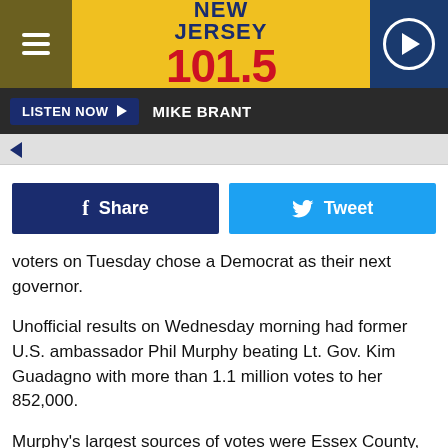[Figure (screenshot): New Jersey 101.5 radio station banner with hamburger menu, yellow background logo, and play button]
LISTEN NOW ▶   MIKE BRANT
[Figure (other): Partial image with blue arrow indicator]
f Share   Tweet
voters on Tuesday chose a Democrat as their next governor.
Unofficial results on Wednesday morning had former U.S. ambassador Phil Murphy beating Lt. Gov. Kim Guadagno with more than 1.1 million votes to her 852,000.
Murphy's largest sources of votes were Essex County, which gave him more than 121,000 votes, and Bergen, which gave him another 121,000.